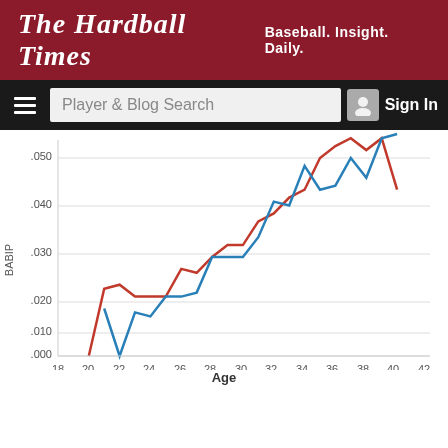The Hardball Times — Baseball. Insight. Daily.
[Figure (line-chart): ]
Age